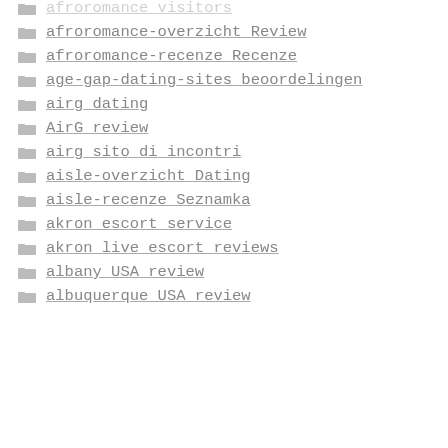afroromance visitors
afroromance-overzicht Review
afroromance-recenze Recenze
age-gap-dating-sites beoordelingen
airg dating
AirG review
airg sito di incontri
aisle-overzicht Dating
aisle-recenze Seznamka
akron escort service
akron live escort reviews
albany USA review
albuquerque USA review